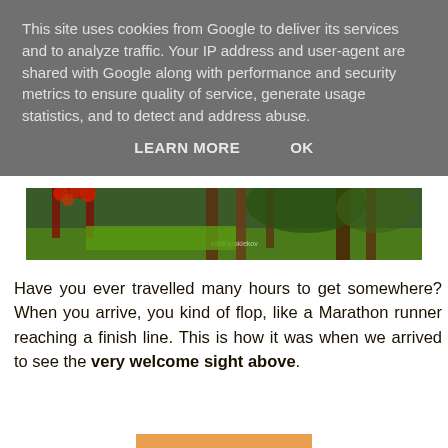This site uses cookies from Google to deliver its services and to analyze traffic. Your IP address and user-agent are shared with Google along with performance and security metrics to ensure quality of service, generate usage statistics, and to detect and address abuse.
LEARN MORE   OK
[Figure (photo): A park scene with green grass, red flowering arch, and trees in the background. A small watermark is visible in the lower center.]
Have you ever travelled many hours to get somewhere? When you arrive, you kind of flop, like a Marathon runner reaching a finish line. This is how it was when we arrived to see the very welcome sight above.
[Figure (photo): A landscape photo showing a silhouetted skyline at sunset or dusk with utility poles and a person visible against an orange sky.]